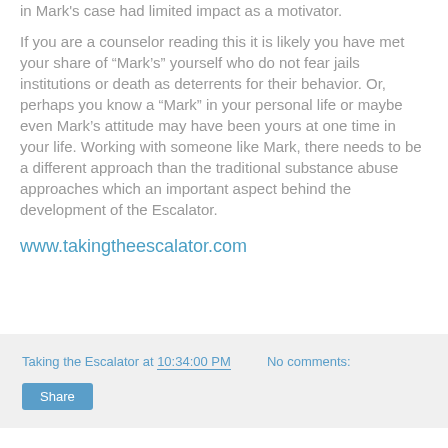in Mark's case had limited impact as a motivator.
If you are a counselor reading this it is likely you have met your share of “Mark’s” yourself who do not fear jails institutions or death as deterrents for their behavior. Or, perhaps you know a “Mark” in your personal life or maybe even Mark’s attitude may have been yours at one time in your life. Working with someone like Mark, there needs to be a different approach than the traditional substance abuse approaches which an important aspect behind the development of the Escalator.
www.takingtheescalator.com
Taking the Escalator at 10:34:00 PM   No comments:
Share